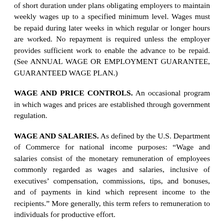of short duration under plans obligating employers to maintain weekly wages up to a specified minimum level. Wages must be repaid during later weeks in which regular or longer hours are worked. No repayment is required unless the employer provides sufficient work to enable the advance to be repaid. (See ANNUAL WAGE OR EMPLOYMENT GUARANTEE, GUARANTEED WAGE PLAN.)
WAGE AND PRICE CONTROLS. An occasional program in which wages and prices are established through government regulation.
WAGE AND SALARIES. As defined by the U.S. Department of Commerce for national income purposes: “Wage and salaries consist of the monetary remuneration of employees commonly regarded as wages and salaries, inclusive of executives’ compensation, commissions, tips, and bonuses, and of payments in kind which represent income to the recipients.” More generally, this term refers to remuneration to individuals for productive effort.
WAGE AND SALARY ADMINISTRATION. The managing and supervision of the wage structure of an employer. It involves the application of wage and salary adjustments, according to